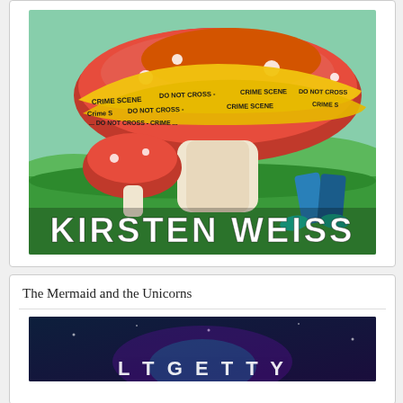[Figure (illustration): Book cover showing colorful illustrated mushrooms on green grass with yellow crime scene tape wrapped around the top mushroom cap. Text on cover reads 'KIRSTEN WEISS'. A body with blue legs visible is behind the mushrooms.]
The Mermaid and the Unicorns
[Figure (illustration): Partial book cover showing a dark blue/purple fantasy scene, partially visible at bottom of page.]